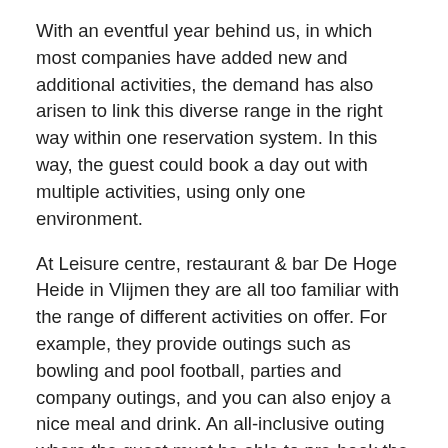With an eventful year behind us, in which most companies have added new and additional activities, the demand has also arisen to link this diverse range in the right way within one reservation system. In this way, the guest could book a day out with multiple activities, using only one environment.
At Leisure centre, restaurant & bar De Hoge Heide in Vlijmen they are all too familiar with the range of different activities on offer. For example, they provide outings such as bowling and pool football, parties and company outings, and you can also enjoy a nice meal and drink. An all-inclusive outing where the guest must be able to pre-book the activities, in an order that he or she likes, is a must for them.
“We first used a different reservation system, but we still ran into the ambition level of that party. On the